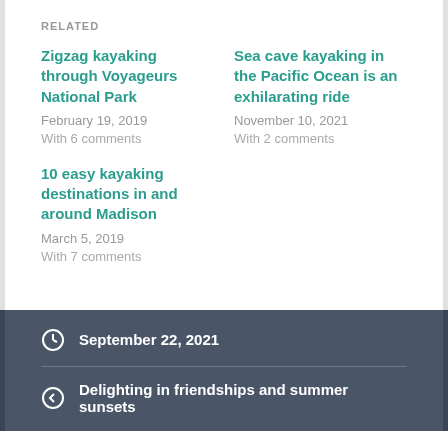RELATED
Zigzag kayaking through Voyageurs National Park
February 19, 2019
With 6 comments
Sea cave kayaking in the Pacific Ocean is an exhilarating ride
November 10, 2021
With 2 comments
10 easy kayaking destinations in and around Madison
March 5, 2019
With 7 comments
September 22, 2021
Delighting in friendships and summer sunsets